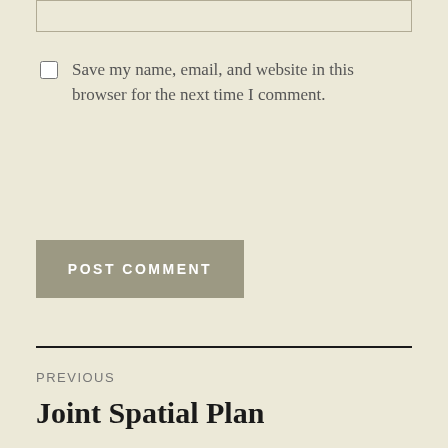Save my name, email, and website in this browser for the next time I comment.
POST COMMENT
PREVIOUS
Joint Spatial Plan